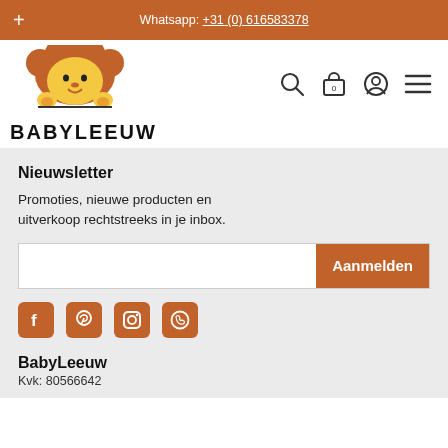+ Whatsapp: +31 (0) 616583378
[Figure (logo): BabyLeeuw baby lion logo with text BABYLEEUW below]
Nieuwsletter
Promoties, nieuwe producten en uitverkoop rechtstreeks in je inbox.
Aanmelden (email input button)
[Figure (other): Social media icons: Facebook, Pinterest, Instagram, WhatsApp]
BabyLeeuw
Kvk: 80566642